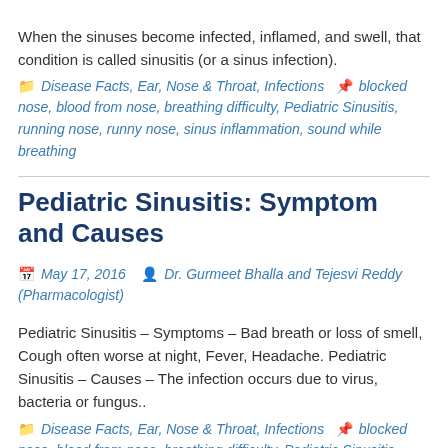When the sinuses become infected, inflamed, and swell, that condition is called sinusitis (or a sinus infection).
Disease Facts, Ear, Nose & Throat, Infections   blocked nose, blood from nose, breathing difficulty, Pediatric Sinusitis, running nose, runny nose, sinus inflammation, sound while breathing
Pediatric Sinusitis: Symptom and Causes
May 17, 2016   Dr. Gurmeet Bhalla and Tejesvi Reddy (Pharmacologist)
Pediatric Sinusitis – Symptoms – Bad breath or loss of smell, Cough often worse at night, Fever, Headache. Pediatric Sinusitis – Causes – The infection occurs due to virus, bacteria or fungus..
Disease Facts, Ear, Nose & Throat, Infections   blocked nose, blood from nose, breathing difficulty, Pediatric Sinusitis, running nose, runny nose, sinus inflammation, sound while breathing